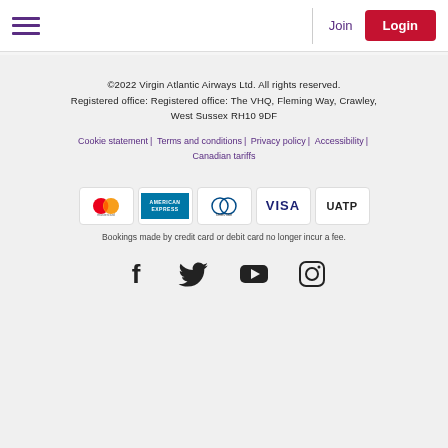Join | Login
©2022 Virgin Atlantic Airways Ltd. All rights reserved. Registered office: Registered office: The VHQ, Fleming Way, Crawley, West Sussex RH10 9DF
Cookie statement | Terms and conditions | Privacy policy | Accessibility | Canadian tariffs
[Figure (other): Payment method logos: Mastercard, American Express, Diners Club, Visa, UATP]
Bookings made by credit card or debit card no longer incur a fee.
[Figure (other): Social media icons: Facebook, Twitter, YouTube, Instagram]